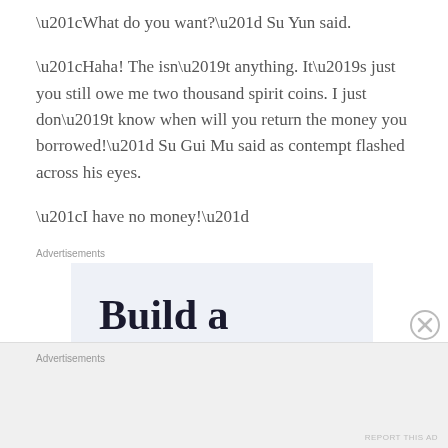“What do you want?” Su Yun said.
“Haha! The isn’t anything. It’s just you still owe me two thousand spirit coins. I just don’t know when will you return the money you borrowed!” Su Gui Mu said as contempt flashed across his eyes.
“I have no money!”
Advertisements
[Figure (other): Advertisement banner with text 'Build a writing habit. Post on the go']
Advertisements